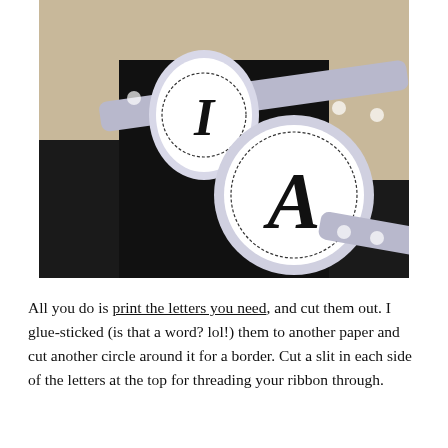[Figure (photo): A close-up photo of circular letter banner pieces strung on a polka-dot ribbon. The circles show decorative black letters (I and A visible) on white/lavender paper with dotted borders. Background is dark/black.]
All you do is print the letters you need, and cut them out. I glue-sticked (is that a word? lol!) them to another paper and cut another circle around it for a border. Cut a slit in each side of the letters at the top for threading your ribbon through.